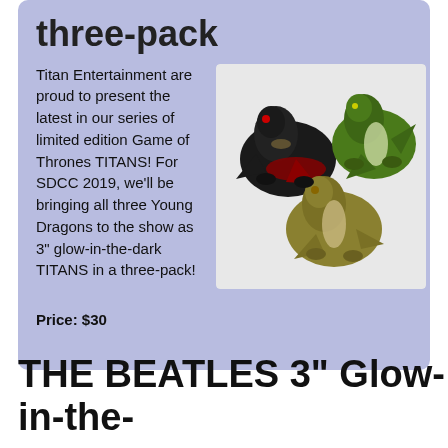three-pack
Titan Entertainment are proud to present the latest in our series of limited edition Game of Thrones TITANS! For SDCC 2019, we'll be bringing all three Young Dragons to the show as 3" glow-in-the-dark TITANS in a three-pack!
[Figure (photo): Three Game of Thrones dragon figurines: a black dragon with red wings, a green dragon, and a tan/olive dragon, arranged as a group on white background]
Price: $30
THE BEATLES 3" Glow-in-the-